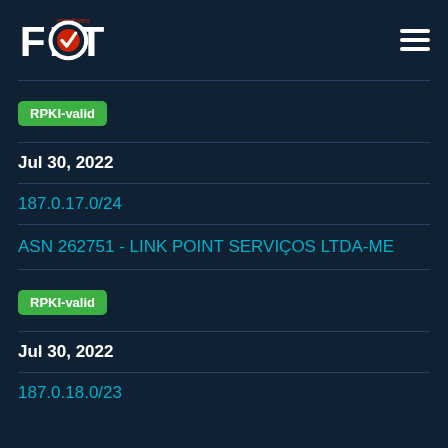FORT monitoreo
RPKI-valid
Jul 30, 2022
187.0.17.0/24
ASN 262751 - LINK POINT SERVIÇOS LTDA-ME
RPKI-valid
Jul 30, 2022
187.0.18.0/23